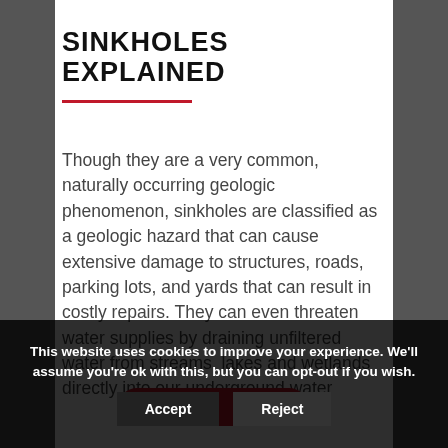SINKHOLES EXPLAINED
Though they are a very common, naturally occurring geologic phenomenon, sinkholes are classified as a geologic hazard that can cause extensive damage to structures, roads, parking lots, and yards that can result in costly repairs. They can even threaten water supplies by draining unfiltered water from streams, lakes and wetlands directly into our underground water
This website uses cookies to improve your experience. We'll assume you're ok with this, but you can opt-out if you wish.
Accept
Reject